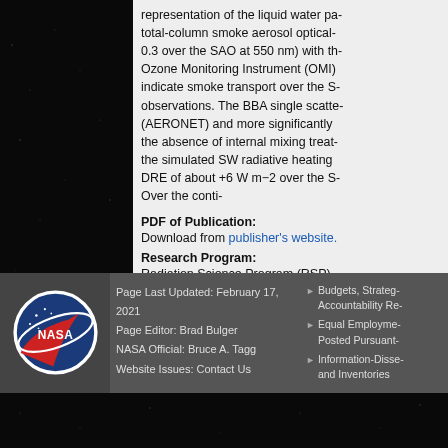representation of the liquid water pa- total-column smoke aerosol optical- 0.3 over the SAO at 550 nm) with th- Ozone Monitoring Instrument (OMI)- indicate smoke transport over the S- observations. The BBA single scatte- (AERONET) and more significantly- the absence of internal mixing treat- the simulated SW radiative heating- DRE of about +6 W m−2 over the S- Over the conti-
PDF of Publication:
Download from publisher's website.
Research Program:
Radiation Science Program (RSP)
Mission:
ORACLES
Page Last Updated: February 17, 2021
Page Editor: Brad Bulger
NASA Official: Bruce A. Tagg
Website Issues: Contact Us
Budgets, Strateg- Accountability Re- Equal Employme- Posted Pursuant- Information-Disse- and Inventories